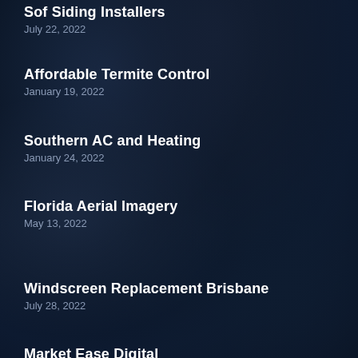Sof Siding Installers
July 22, 2022
Affordable Termite Control
January 19, 2022
Southern AC and Heating
January 24, 2022
Florida Aerial Imagery
May 13, 2022
Windscreen Replacement Brisbane
July 28, 2022
Market Ease Digital
August 3, 2022